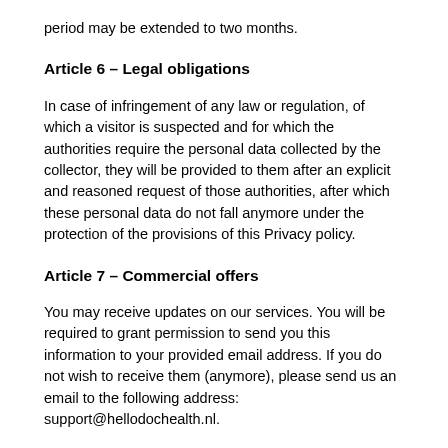period may be extended to two months.
Article 6 – Legal obligations
In case of infringement of any law or regulation, of which a visitor is suspected and for which the authorities require the personal data collected by the collector, they will be provided to them after an explicit and reasoned request of those authorities, after which these personal data do not fall anymore under the protection of the provisions of this Privacy policy.
Article 7 – Commercial offers
You may receive updates on our services. You will be required to grant permission to send you this information to your provided email address. If you do not wish to receive them (anymore), please send us an email to the following address: support@hellodochealth.nl.
Your personal data will not be used by our partners for commercial purposes.
Article 8 – Data retention